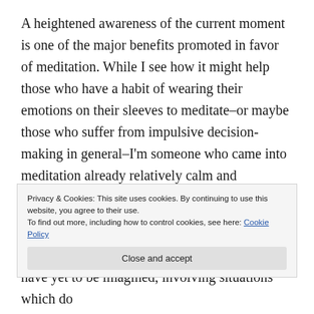A heightened awareness of the current moment is one of the major benefits promoted in favor of meditation. While I see how it might help those who have a habit of wearing their emotions on their sleeves to meditate–or maybe those who suffer from impulsive decision-making in general–I'm someone who came into meditation already relatively calm and collected, possessing a decent set of stress management skills to begin with.  Furthermore, I'm someone who relies on having to construct imaginary plots, involving
Privacy & Cookies: This site uses cookies. By continuing to use this website, you agree to their use.
To find out more, including how to control cookies, see here: Cookie Policy
Close and accept
have yet to be imagined, involving situations which do